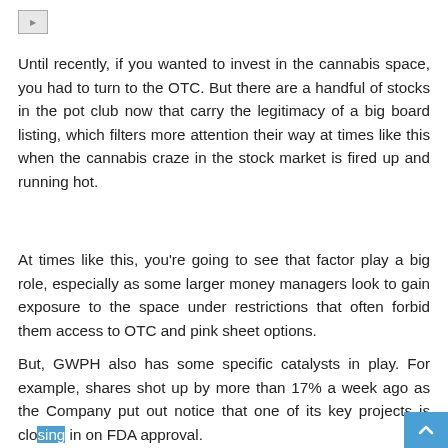[Figure (illustration): Small broken image icon placeholder in the top-left corner]
Until recently, if you wanted to invest in the cannabis space, you had to turn to the OTC. But there are a handful of stocks in the pot club now that carry the legitimacy of a big board listing, which filters more attention their way at times like this when the cannabis craze in the stock market is fired up and running hot.
At times like this, you're going to see that factor play a big role, especially as some larger money managers look to gain exposure to the space under restrictions that often forbid them access to OTC and pink sheet options.
But, GWPH also has some specific catalysts in play. For example, shares shot up by more than 17% a week ago as the Company put out notice that one of its key projects is closing in on FDA approval.